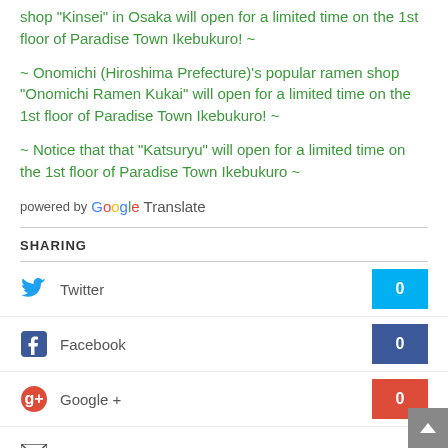shop "Kinsei" in Osaka will open for a limited time on the 1st floor of Paradise Town Ikebukuro! ~
~ Onomichi (Hiroshima Prefecture)'s popular ramen shop "Onomichi Ramen Kukai" will open for a limited time on the 1st floor of Paradise Town Ikebukuro! ~
~ Notice that that "Katsuryu" will open for a limited time on the 1st floor of Paradise Town Ikebukuro ~
powered by Google Translate
SHARING
Twitter 0
Facebook 0
Google + 0
Email